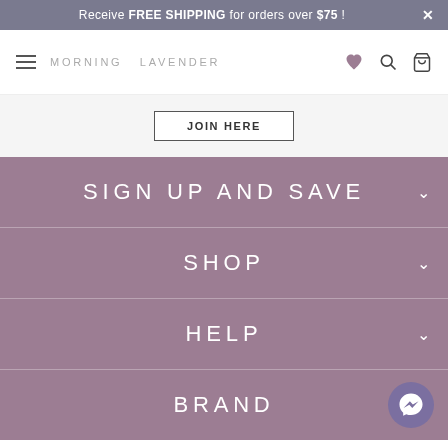Receive FREE SHIPPING for orders over $75 !
MORNING LAVENDER
JOIN HERE
SIGN UP AND SAVE
SHOP
HELP
BRAND